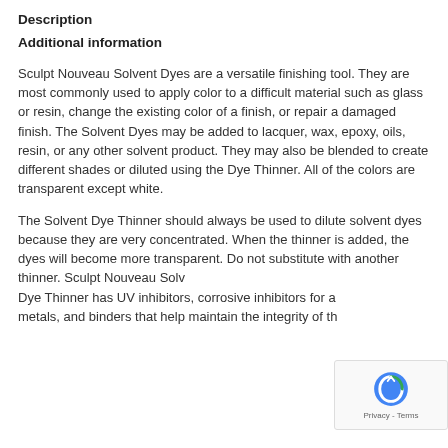Description
Additional information
Sculpt Nouveau Solvent Dyes are a versatile finishing tool. They are most commonly used to apply color to a difficult material such as glass or resin, change the existing color of a finish, or repair a damaged finish. The Solvent Dyes may be added to lacquer, wax, epoxy, oils, resin, or any other solvent product. They may also be blended to create different shades or diluted using the Dye Thinner. All of the colors are transparent except white.
The Solvent Dye Thinner should always be used to dilute solvent dyes because they are very concentrated. When the thinner is added, the dyes will become more transparent. Do not substitute with another thinner. Sculpt Nouveau Solv Dye Thinner has UV inhibitors, corrosive inhibitors for a metals, and binders that help maintain the integrity of th